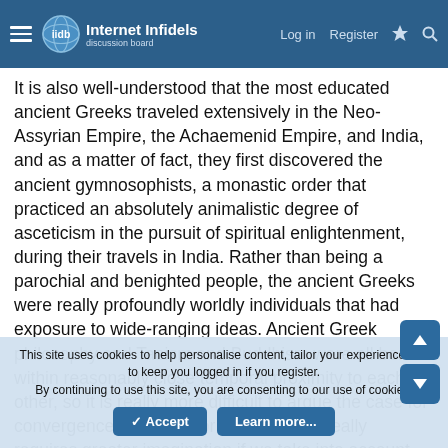Internet Infidels — Log in | Register
It is also well-understood that the most educated ancient Greeks traveled extensively in the Neo-Assyrian Empire, the Achaemenid Empire, and India, and as a matter of fact, they first discovered the ancient gymnosophists, a monastic order that practiced an absolutely animalistic degree of asceticism in the pursuit of spiritual enlightenment, during their travels in India. Rather than being a parochial and benighted people, the ancient Greeks were really profoundly worldly individuals that had exposure to wide-ranging ideas. Ancient Greek philosophy and Taoism and Buddhism were all born within reasonably close temporal proximity to each other, so it is really more difficult to argue the case for convergence: the case for convergence really requires greater imagination if we take into account the important intelligence that those ancient peoples all interacted with each other continuously, and far more than what had given
This site uses cookies to help personalise content, tailor your experience and to keep you logged in if you register.
By continuing to use this site, you are consenting to our use of cookies.